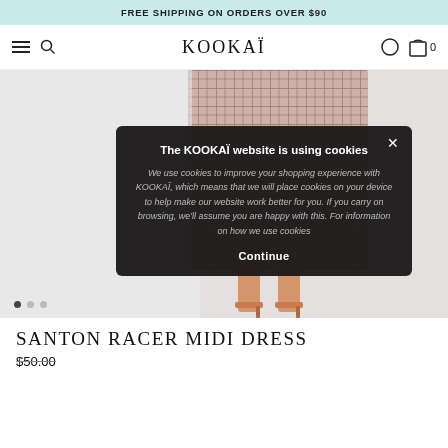FREE SHIPPING ON ORDERS OVER $90
[Figure (screenshot): KOOKAI website navigation bar with hamburger menu, search icon, KOOKAI logo, wishlist and bag icons]
[Figure (photo): Model wearing a pink/mauve plaid midi dress, showing the lower half of the dress and heeled sandals, on a light grey background]
The KOOKAÏ website is using cookies
We use cookies to improve your shopping experience with KOOKAÏ, which means that we will place cookies on your device to help make our website work better for you. If you carry on browsing, we'll assume you are happy with this. For information on how we use cookies
Continue
SANTON RACER MIDI DRESS
$50.00